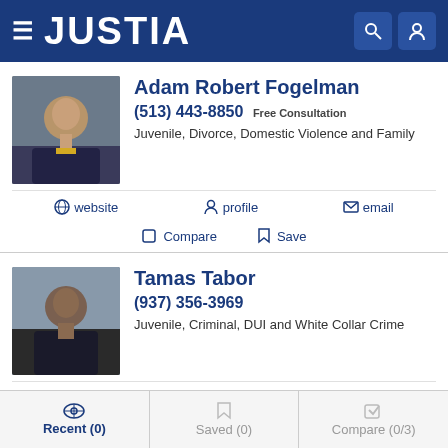JUSTIA
Adam Robert Fogelman
(513) 443-8850 Free Consultation
Juvenile, Divorce, Domestic Violence and Family
website | profile | email
Compare | Save
Tamas Tabor
(937) 356-3969
Juvenile, Criminal, DUI and White Collar Crime
website | profile | email
Recent (0) | Saved (0) | Compare (0/3)